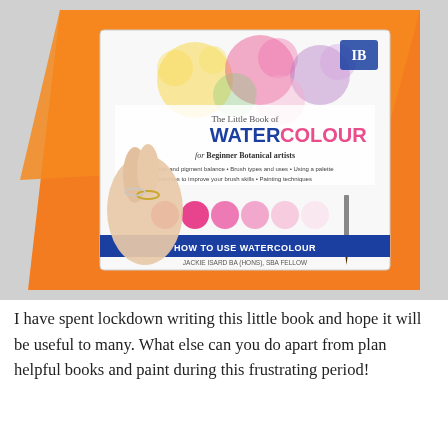[Figure (photo): A hand holding 'The Little Book of Watercolour for Beginner Botanical artists' book, displayed against an orange envelope background. The book cover shows colorful watercolor paint splashes in pink, yellow, purple and green tones, with a row of pink gradient paint swatches and a blue banner reading 'HOW TO USE WATERCOLOUR'. Author name: Jackie Isard.]
I have spent lockdown writing this little book and hope it will be useful to many. What else can you do apart from plan helpful books and paint during this frustrating period!